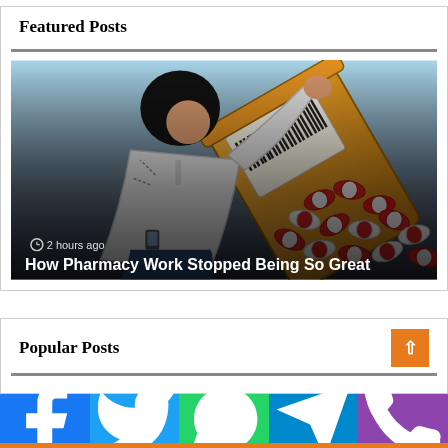Featured Posts
[Figure (illustration): Illustration of a pharmacist/person in white coat kneeling, overwhelmed, with a large orange pill bottle spilling red and white capsules, on a light blue background. Overlaid text: clock icon '2 hours ago' and title 'How Pharmacy Work Stopped Being So Great']
2 hours ago
How Pharmacy Work Stopped Being So Great
Popular Posts